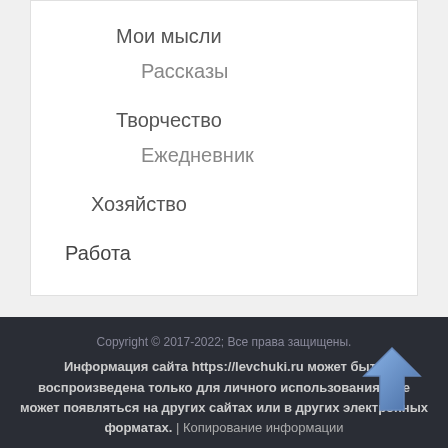Мои мысли
Рассказы
Творчество
Ежедневник
Хозяйство
Работа
Copyright © 2017-2022; Все права защищены. Информация сайта https://levchuki.ru может быть воспроизведена только для личного использования и не может появляться на других сайтах или в других электронных форматах. | Копирование информации